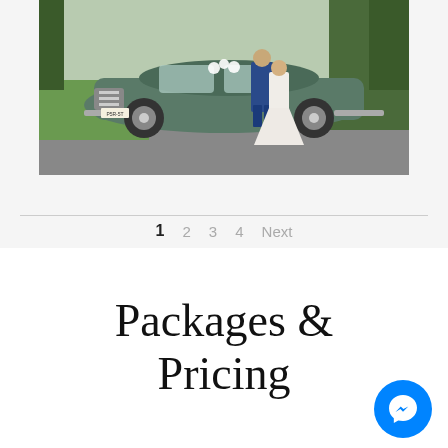[Figure (photo): Wedding photo of a bride and groom standing in front of a vintage green Rolls Royce on a tree-lined driveway]
1  2  3  4  Next
Packages & Pricing